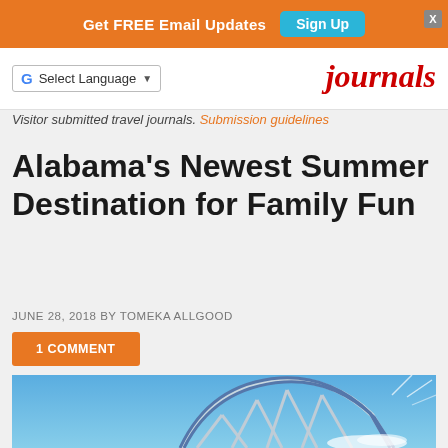Get FREE Email Updates  Sign Up
Select Language  |  journals
Visitor submitted travel journals. Submission guidelines
Alabama's Newest Summer Destination for Family Fun
JUNE 28, 2018 BY TOMEKA ALLGOOD
1 COMMENT
[Figure (photo): Roller coaster track against blue sky]